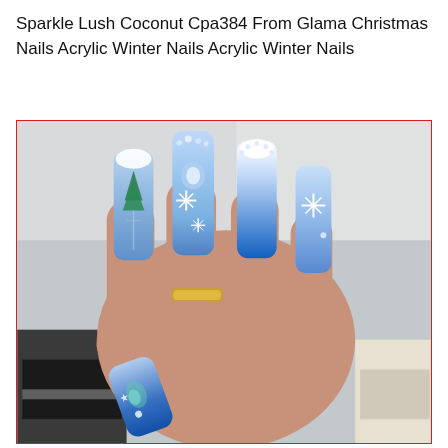Sparkle Lush Coconut Cpa384 From Glama Christmas Nails Acrylic Winter Nails Acrylic Winter Nails
[Figure (photo): A hand displaying long acrylic coffin-shaped nails with a blue and white winter/Christmas theme. The nails feature snowflakes, rhinestones, holographic glitter, and ombre blue-to-white gradient designs. Shoes are visible in the background.]